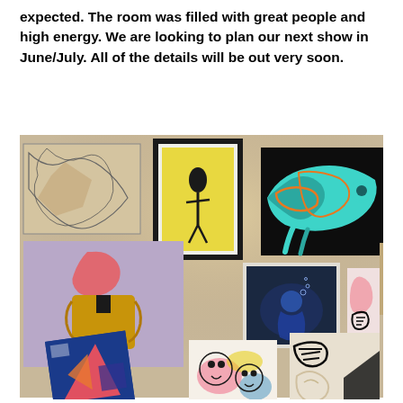expected. The room was filled with great people and high energy. We are looking to plan our next show in June/July. All of the details will be out very soon.
[Figure (photo): Photo of an art gallery wall displaying multiple paintings and artworks hung in a salon-style arrangement. The artworks include colorful abstract and figurative pieces such as a teal fish-like creature on black background, a figure with a pink flame-head wearing a yellow jacket, a yellow-background piece with black ink figures in a frame, a line-drawing abstract painting, a dark photo print, and several smaller mixed-media works at the bottom.]